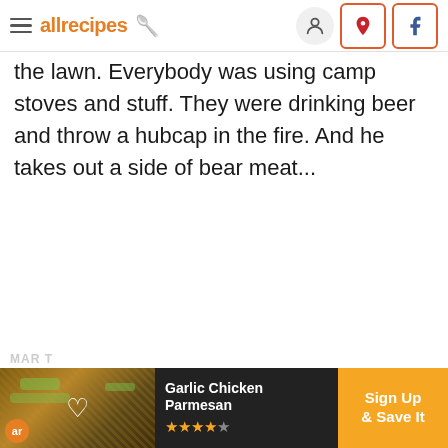allrecipes
the lawn. Everybody was using camp stoves and stuff. They were drinking beer and throw a hubcap in the fire. And he takes out a side of bear meat...
[Figure (screenshot): Advertisement banner at the bottom showing Garlic Chicken Parmesan with a Sign Up & Save It call to action button in orange, with star rating and allrecipes logo.]